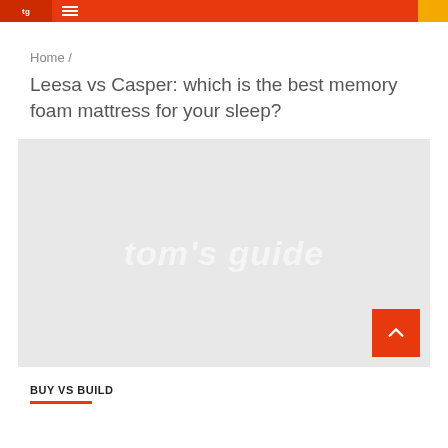tom's guide navigation bar
Home /
Leesa vs Casper: which is the best memory foam mattress for your sleep?
[Figure (illustration): Gray placeholder hero image with 'tom's guide' watermark text in white italic, and an orange scroll-to-top button with upward chevron in bottom-right corner.]
BUY VS BUILD